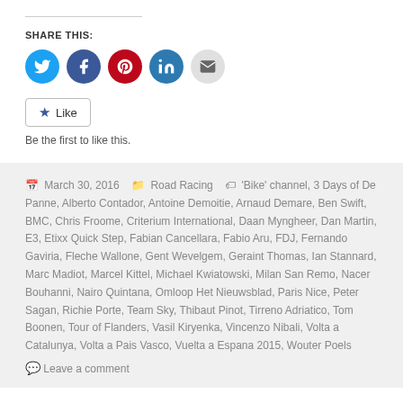SHARE THIS:
[Figure (infographic): Social share buttons: Twitter (blue), Facebook (dark blue), Pinterest (red), LinkedIn (teal), Email (light gray) — all circular icons]
Like
Be the first to like this.
March 30, 2016  Road Racing  'Bike' channel, 3 Days of De Panne, Alberto Contador, Antoine Demoitie, Arnaud Demare, Ben Swift, BMC, Chris Froome, Criterium International, Daan Myngheer, Dan Martin, E3, Etixx Quick Step, Fabian Cancellara, Fabio Aru, FDJ, Fernando Gaviria, Fleche Wallone, Gent Wevelgem, Geraint Thomas, Ian Stannard, Marc Madiot, Marcel Kittel, Michael Kwiatowski, Milan San Remo, Nacer Bouhanni, Nairo Quintana, Omloop Het Nieuwsblad, Paris Nice, Peter Sagan, Richie Porte, Team Sky, Thibaut Pinot, Tirreno Adriatico, Tom Boonen, Tour of Flanders, Vasil Kiryenka, Vincenzo Nibali, Volta a Catalunya, Volta a Pais Vasco, Vuelta a Espana 2015, Wouter Poels
Leave a comment